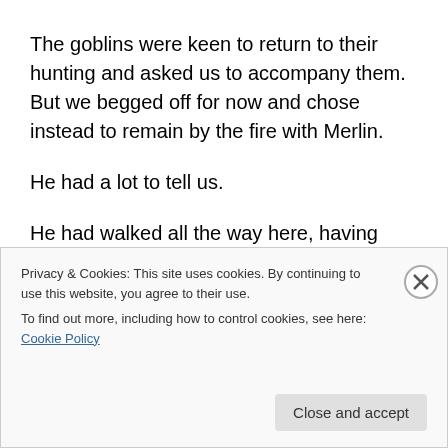The goblins were keen to return to their hunting and asked us to accompany them. But we begged off for now and chose instead to remain by the fire with Merlin.
He had a lot to tell us.
He had walked all the way here, having entered via the lands to the north of Dromadil. It took a moment to comprehend what he had just relayed to us.
Then he claimed that the cold invading our world was
Privacy & Cookies: This site uses cookies. By continuing to use this website, you agree to their use.
To find out more, including how to control cookies, see here: Cookie Policy
Close and accept